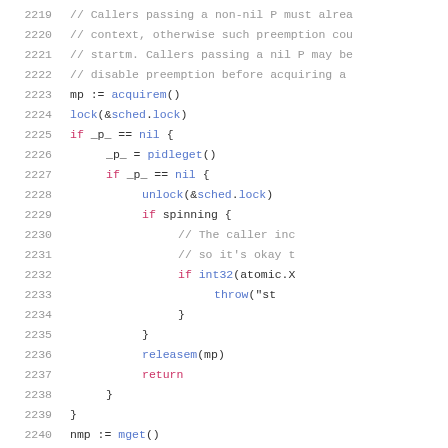[Figure (screenshot): Source code listing in Go programming language, lines 2219-2241, showing scheduler function with locking, idle P acquisition, spinning logic, and M management.]